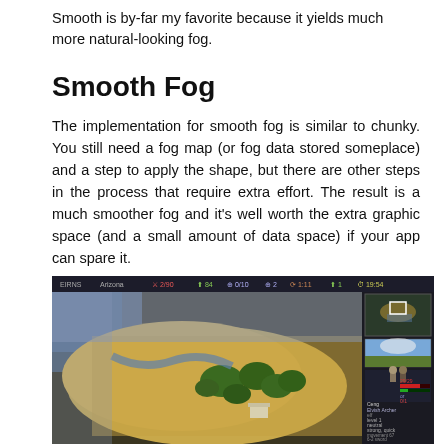Smooth is by-far my favorite because it yields much more natural-looking fog.
Smooth Fog
The implementation for smooth fog is similar to chunky. You still need a fog map (or fog data stored someplace) and a step to apply the shape, but there are other steps in the process that require extra effort. The result is a much smoother fog and it’s well worth the extra graphic space (and a small amount of data space) if your app can spare it.
[Figure (screenshot): Screenshot of a game map with smooth fog of war effect showing a top-down terrain view with sand, trees, water, and a small building. The right panel shows a minimap, character sprite, and unit stats including Ceng, Elvish Archer, level 1, neutral, strong, quick, movement 67, 6-2 sword, melee-blade, 9-4 bow, ranged-pierce.]